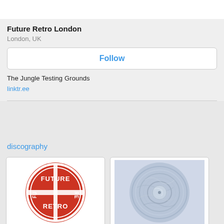Future Retro London
London, UK
Follow
The Jungle Testing Grounds
linktr.ee
discography
[Figure (logo): Future Retro circular logo with red and white bold text arranged in a globe/ball style reading FUTURE RETRO]
[Figure (photo): Blue-grey vinyl record with swirling marbled texture and a circular label in the center]